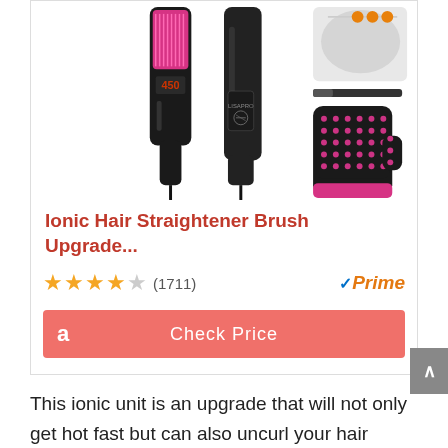[Figure (photo): Product photo showing a black ionic hair straightener brush with pink bristles, its side profile, accessories including a heat-resistant glove, a cleaning brush, and a storage pouch with orange beads]
Ionic Hair Straightener Brush Upgrade...
★★★★☆ (1711)   ✓Prime
[Figure (screenshot): Amazon Check Price button in salmon/red color with Amazon logo on the left]
This ionic unit is an upgrade that will not only get hot fast but can also uncurl your hair quickly and save you time. It makes use of metallic-ceramic